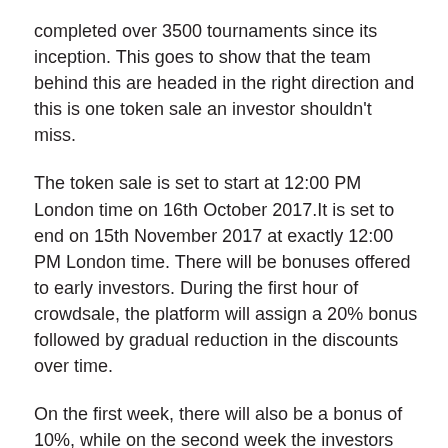completed over 3500 tournaments since its inception. This goes to show that the team behind this are headed in the right direction and this is one token sale an investor shouldn't miss.
The token sale is set to start at 12:00 PM London time on 16th October 2017.It is set to end on 15th November 2017 at exactly 12:00 PM London time. There will be bonuses offered to early investors. During the first hour of crowdsale, the platform will assign a 20% bonus followed by gradual reduction in the discounts over time.
On the first week, there will also be a bonus of 10%, while on the second week the investors will be given a bonus of 5%. The total amount that the ICO seeks to raise is USD 12 Million. The rate of exchange will be 1 ETH equals 10,000 ELT.